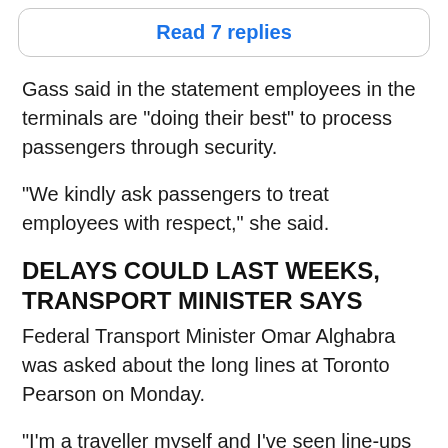[Figure (other): Read 7 replies button/link inside a rounded rectangle border]
Gass said in the statement employees in the terminals are "doing their best" to process passengers through security.
"We kindly ask passengers to treat employees with respect," she said.
DELAYS COULD LAST WEEKS, TRANSPORT MINISTER SAYS
Federal Transport Minister Omar Alghabra was asked about the long lines at Toronto Pearson on Monday.
"I'm a traveller myself and I've seen line-ups grow over the last few weeks," Alghabra said. "I